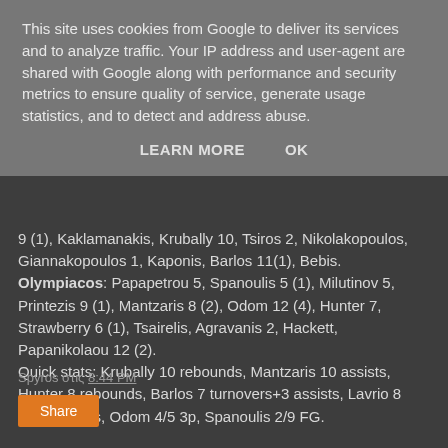This site uses cookies from Google to deliver its services and to analyze traffic. Your IP address and user-agent are shared with Google along with performance and security metrics to ensure quality of service, generate usage statistics, and to detect and address abuse.
LEARN MORE    OK
9 (1), Kaklamanakis, Krubally 10, Tsiros 2, Nikolakopoulos, Giannakopoulos 1, Kaponis, Barlos 11(1), Bebis. Olympiacos: Papapetrou 5, Spanoulis 5 (1), Milutinov 5, Printezis 9 (1), Mantzaris 8 (2), Odom 12 (4), Hunter 7, Strawberry 6 (1), Tsairelis, Agravanis 2, Hackett, Papanikolaou 12 (2). Quick stats: Krubally 10 rebounds, Mantzaris 10 assists, Hunter 8 rebounds, Barlos 7 turnovers+3 assists, Lavrio 8 off.rebounds, Odom 4/5 3p, Spanoulis 2/9 FG.
Spyros στις 8:44 PM
Share